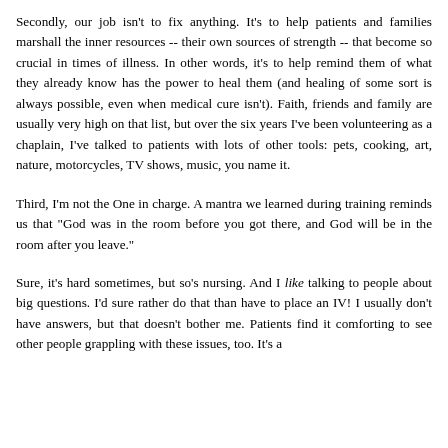Secondly, our job isn't to fix anything. It's to help patients and families marshall the inner resources -- their own sources of strength -- that become so crucial in times of illness. In other words, it's to help remind them of what they already know has the power to heal them (and healing of some sort is always possible, even when medical cure isn't). Faith, friends and family are usually very high on that list, but over the six years I've been volunteering as a chaplain, I've talked to patients with lots of other tools: pets, cooking, art, nature, motorcycles, TV shows, music, you name it.
Third, I'm not the One in charge. A mantra we learned during training reminds us that "God was in the room before you got there, and God will be in the room after you leave."
Sure, it's hard sometimes, but so's nursing. And I like talking to people about big questions. I'd sure rather do that than have to place an IV! I usually don't have answers, but that doesn't bother me. Patients find it comforting to see other people grappling with these issues, too. It's a